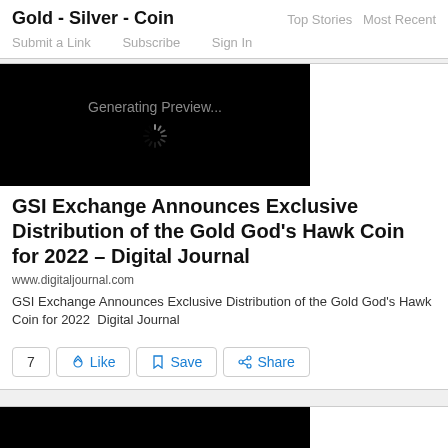Gold - Silver - Coin
Top Stories  Most Recent
Submit a Link   Subscribe   Sign In
[Figure (screenshot): Black preview image with 'Generating Preview...' text and spinner]
GSI Exchange Announces Exclusive Distribution of the Gold God's Hawk Coin for 2022 – Digital Journal
www.digitaljournal.com
GSI Exchange Announces Exclusive Distribution of the Gold God's Hawk Coin for 2022  Digital Journal
7  Like  Save  Share
[Figure (screenshot): Black preview image at bottom of page]